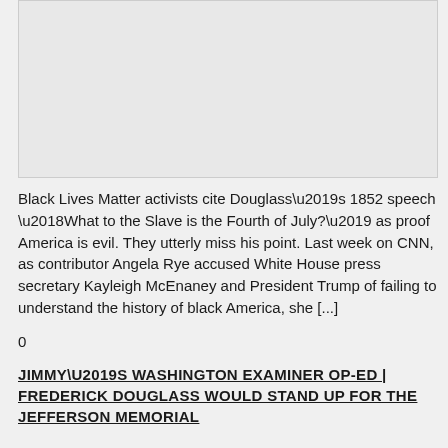[Figure (other): Gray placeholder image box]
Black Lives Matter activists cite Douglass’s 1852 speech ‘What to the Slave is the Fourth of July?’ as proof America is evil. They utterly miss his point. Last week on CNN, as contributor Angela Rye accused White House press secretary Kayleigh McEnaney and President Trump of failing to understand the history of black America, she [...]
0
JIMMY’S WASHINGTON EXAMINER OP-ED | FREDERICK DOUGLASS WOULD STAND UP FOR THE JEFFERSON MEMORIAL